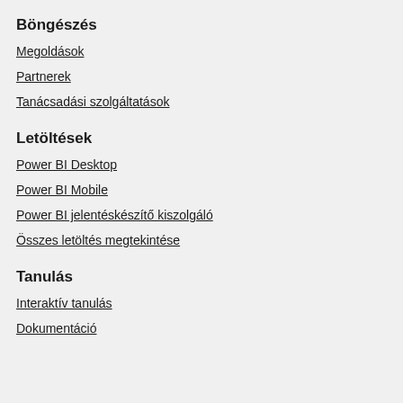Böngészés
Megoldások
Partnerek
Tanácsadási szolgáltatások
Letöltések
Power BI Desktop
Power BI Mobile
Power BI jelentéskészítő kiszolgáló
Összes letöltés megtekintése
Tanulás
Interaktív tanulás
Dokumentáció